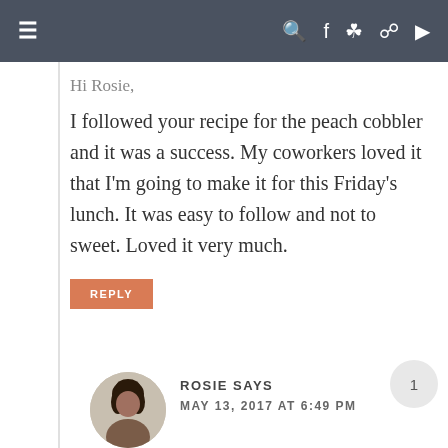Navigation bar with hamburger menu and social icons
Hi Rosie,
I followed your recipe for the peach cobbler and it was a success. My coworkers loved it that I'm going to make it for this Friday's lunch. It was easy to follow and not to sweet. Loved it very much.
REPLY
ROSIE SAYS
MAY 13, 2017 AT 6:49 PM
Glad that you liked the recipe!